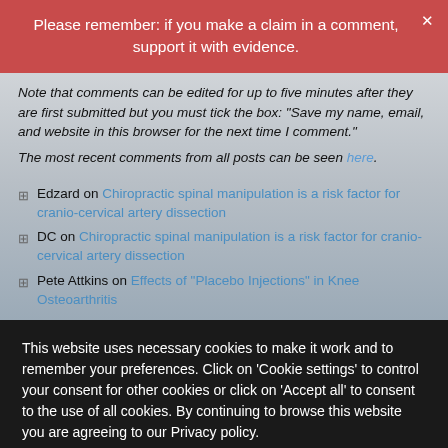Please remember: if you make a claim in a comment, support it with evidence.
Note that comments can be edited for up to five minutes after they are first submitted but you must tick the box: “Save my name, email, and website in this browser for the next time I comment.”
The most recent comments from all posts can be seen here.
Edzard on Chiropractic spinal manipulation is a risk factor for cranio-cervical artery dissection
DC on Chiropractic spinal manipulation is a risk factor for cranio-cervical artery dissection
Pete Attkins on Effects of “Placebo Injections” in Knee Osteoarthritis
This website uses necessary cookies to make it work and to remember your preferences. Click on 'Cookie settings' to control your consent for other cookies or click on 'Accept all' to consent to the use of all cookies. By continuing to browse this website you are agreeing to our Privacy policy.